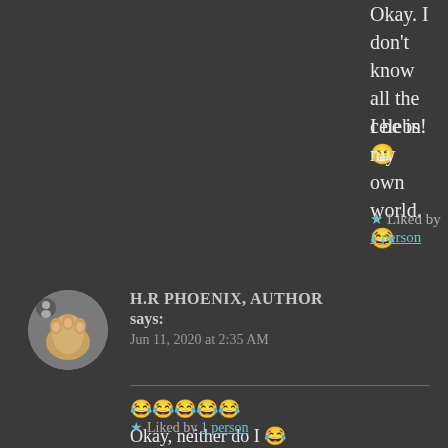Okay. I don't know all the celebs!😁
I be in my own world.😂
★ Liked by 1 person
H.R PHOENIX, AUTHOR says:
Jun 11, 2020 at 2:35 AM
😂😂😂😂😂
Okay, neither do I 😂
But check out the link:
https://youtu.be/SDEiYWCcWlg
★ Liked by 1 person